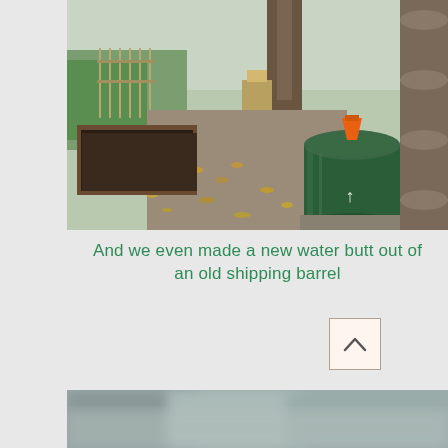[Figure (photo): Outdoor community garden scene in autumn. A raised planting bed with dark soil is visible on the left. A large green metal barrel/drum (water butt) is positioned against a rustic wooden log wall on the right. An orange funnel sits on top of the barrel. The ground is covered with fallen yellow-brown leaves. Trees without leaves and a wooden fence are visible in the background.]
And we even made a new water butt out of an old shipping barrel
[Figure (photo): Blurred outdoor photo, partially visible at the bottom of the page. Shows a muted grey-green blurred scene, likely an outdoor garden or landscape setting.]